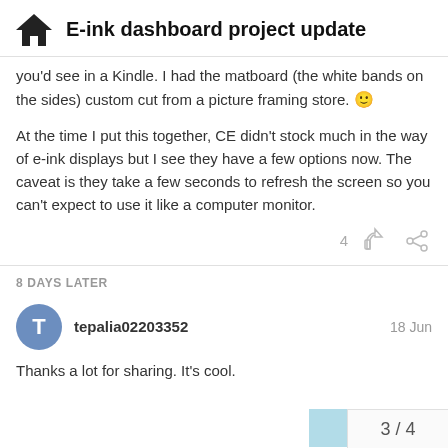E-ink dashboard project update
you'd see in a Kindle. I had the matboard (the white bands on the sides) custom cut from a picture framing store. 🙂
At the time I put this together, CE didn't stock much in the way of e-ink displays but I see they have a few options now. The caveat is they take a few seconds to refresh the screen so you can't expect to use it like a computer monitor.
4
8 DAYS LATER
tepalia02203352    18 Jun
Thanks a lot for sharing. It's cool.
3 / 4